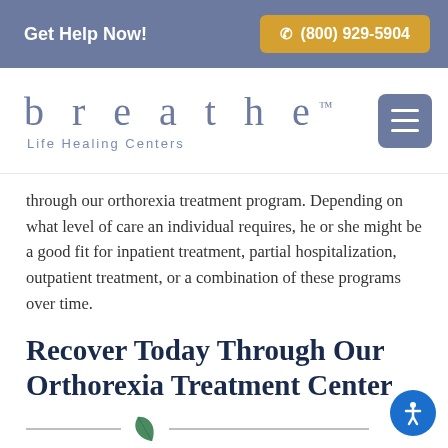Get Help Now! ☎ (800) 929-5904
[Figure (logo): Breathe Life Healing Centers logo with menu button]
through our orthorexia treatment program. Depending on what level of care an individual requires, he or she might be a good fit for inpatient treatment, partial hospitalization, outpatient treatment, or a combination of these programs over time.
Recover Today Through Our Orthorexia Treatment Center
[Figure (illustration): Decorative divider with leaf icon]
Being caught in the throes of an eating disorder